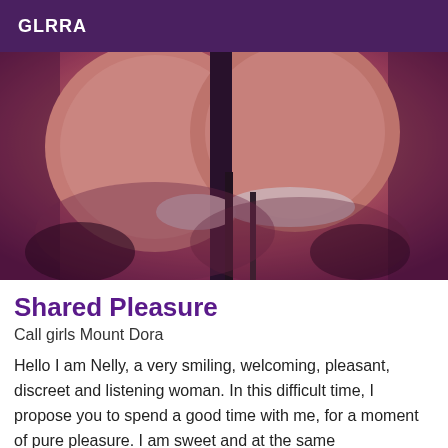GLRRA
[Figure (photo): Close-up photo of a woman in lingerie, purple-tinted background]
Shared Pleasure
Call girls Mount Dora
Hello I am Nelly, a very smiling, welcoming, pleasant, discreet and listening woman. In this difficult time, I propose you to spend a good time with me, for a moment of pure pleasure. I am sweet and at the same